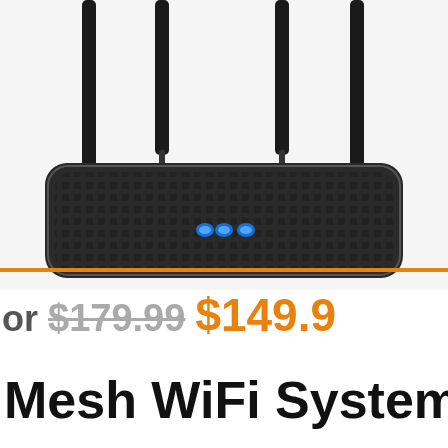[Figure (photo): A black WiFi router with four antennas and blue LED lights, viewed from above at an angle, showing the mesh-textured top surface.]
or $179.99 $149.9
Mesh WiFi System